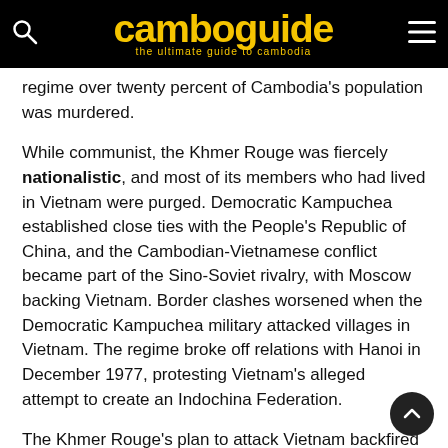camboguide – the ultimate guide to cambodia
regime over twenty percent of Cambodia's population was murdered.
While communist, the Khmer Rouge was fiercely nationalistic, and most of its members who had lived in Vietnam were purged. Democratic Kampuchea established close ties with the People's Republic of China, and the Cambodian-Vietnamese conflict became part of the Sino-Soviet rivalry, with Moscow backing Vietnam. Border clashes worsened when the Democratic Kampuchea military attacked villages in Vietnam. The regime broke off relations with Hanoi in December 1977, protesting Vietnam's alleged attempt to create an Indochina Federation.
The Khmer Rouge's plan to attack Vietnam backfired when the Vietnamese surprised Cambodia with an attack of